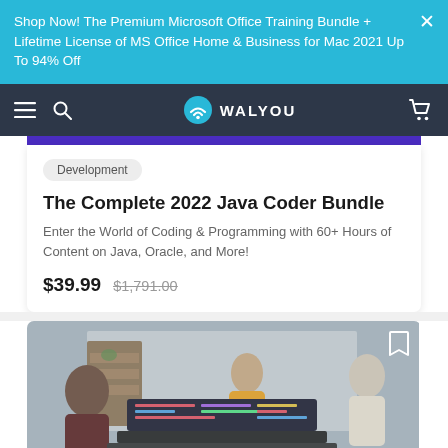Shop Now! The Premium Microsoft Office Training Bundle + Lifetime License of MS Office Home & Business for Mac 2021 Up To 94% Off
[Figure (screenshot): Walyou website navigation bar with hamburger menu, search icon, Walyou logo, and cart icon on dark background]
Development
The Complete 2022 Java Coder Bundle
Enter the World of Coding & Programming with 60+ Hours of Content on Java, Oracle, and More!
$39.99  $1,791.00
[Figure (photo): Blurred photo of people in a classroom or office setting with a laptop in the foreground displaying code]